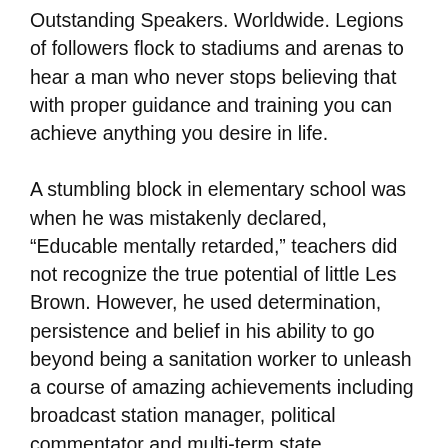Outstanding Speakers. Worldwide. Legions of followers flock to stadiums and arenas to hear a man who never stops believing that with proper guidance and training you can achieve anything you desire in life.
A stumbling block in elementary school was when he was mistakenly declared, “Educable mentally retarded,” teachers did not recognize the true potential of little Les Brown. However, he used determination, persistence and belief in his ability to go beyond being a sanitation worker to unleash a course of amazing achievements including broadcast station manager, political commentator and multi-term state representative in Ohio.
Les Brown is committed to motivating and training today’s generation to be achievers and